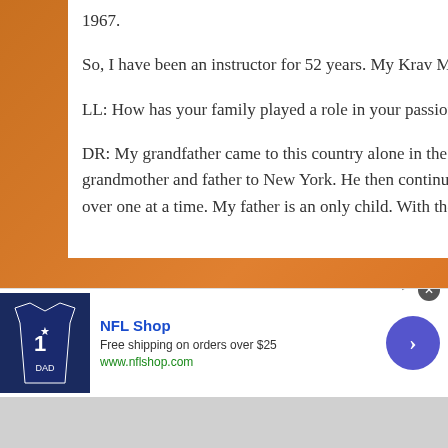1967.
So, I have been an instructor for 52 years. My Krav Maga training began in 1957, as part of a family focus.
LL: How has your family played a role in your passion for martial arts?
DR: My grandfather came to this country alone in the early 1900s. He worked and saved enough money to bring my grandmother and father to New York. He then continued to work and save enough to bring members of the family over one at a time. My father is an only child. With the decimation of the remaining family in Europe
[Figure (screenshot): NFL Shop advertisement banner showing a Dallas Cowboys jersey (#1, DAD), text 'NFL Shop', 'Free shipping on orders over $25', 'www.nflshop.com', a blue circular arrow button, a close button, and an Ad badge.]